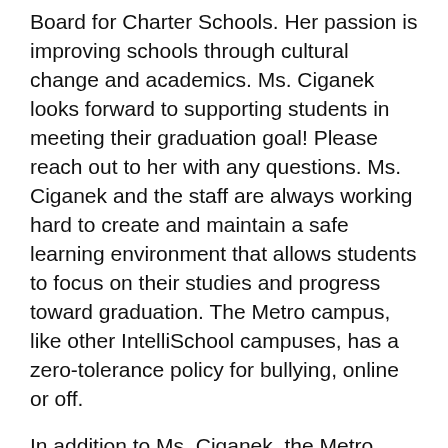Board for Charter Schools. Her passion is improving schools through cultural change and academics. Ms. Ciganek looks forward to supporting students in meeting their graduation goal! Please reach out to her with any questions. Ms. Ciganek and the staff are always working hard to create and maintain a safe learning environment that allows students to focus on their studies and progress toward graduation. The Metro campus, like other IntelliSchool campuses, has a zero-tolerance policy for bullying, online or off.
In addition to Ms. Ciganek, the Metro Center campus is supported by three teachers, a counselor and a variety of tutors. This campus also offers math intervention services to students.
The Metro Center campus has three daily sessions. The morning session is from 8:00 a.m. – 12:00 p.m.